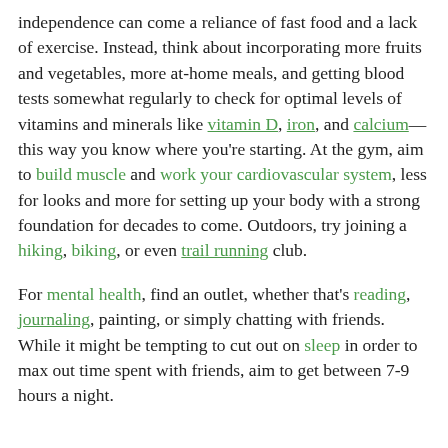independence can come a reliance of fast food and a lack of exercise. Instead, think about incorporating more fruits and vegetables, more at-home meals, and getting blood tests somewhat regularly to check for optimal levels of vitamins and minerals like vitamin D, iron, and calcium—this way you know where you're starting. At the gym, aim to build muscle and work your cardiovascular system, less for looks and more for setting up your body with a strong foundation for decades to come. Outdoors, try joining a hiking, biking, or even trail running club.
For mental health, find an outlet, whether that's reading, journaling, painting, or simply chatting with friends. While it might be tempting to cut out on sleep in order to max out time spent with friends, aim to get between 7-9 hours a night.